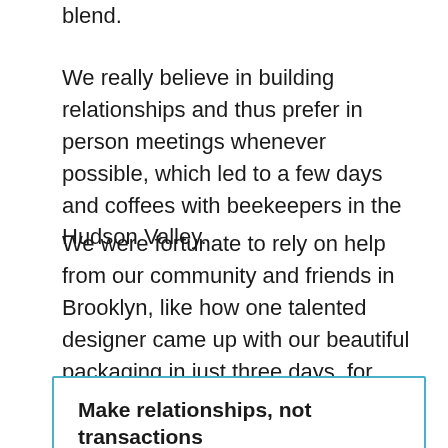blend.
We really believe in building relationships and thus prefer in person meetings whenever possible, which led to a few days and coffees with beekeepers in the Hudson Valley.
We were fortunate to rely on help from our community and friends in Brooklyn, like how one talented designer came up with our beautiful packaging in just three days, for free!
Make relationships, not transactions
The time we “invested” into in-person